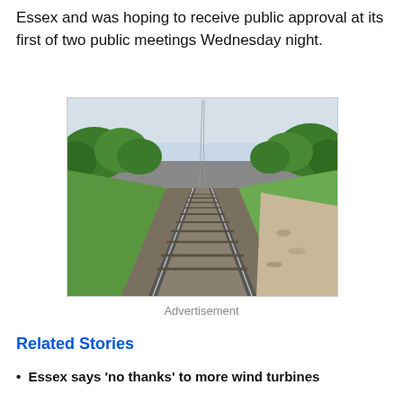Essex and was hoping to receive public approval at its first of two public meetings Wednesday night.
[Figure (photo): Photograph taken from above a railway track looking down two parallel train tracks extending to the horizon, flanked by green grass and trees on either side, with a gravel/dirt path on the right.]
Advertisement
Related Stories
Essex says 'no thanks' to more wind turbines